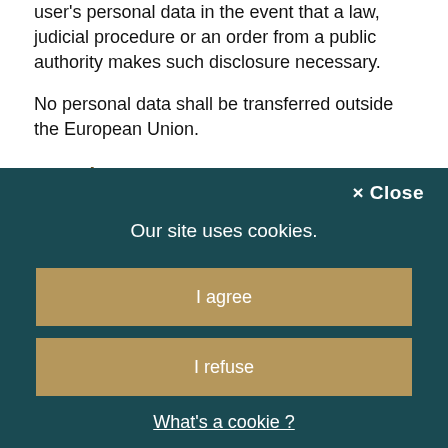user's personal data in the event that a law, judicial procedure or an order from a public authority makes such disclosure necessary.
No personal data shall be transferred outside the European Union.
Security
[Figure (screenshot): Cookie consent dialog overlay on dark teal background with '× Close' button, 'Our site uses cookies.' message, 'I agree' button, 'I refuse' button, and 'What's a cookie ?' link.]